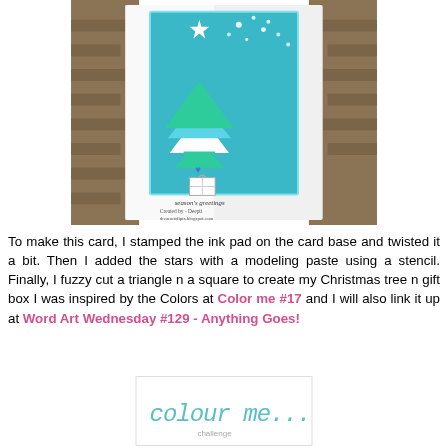[Figure (photo): A handmade Christmas card with a blue teal background, a Christmas tree made from geometric shapes with stripes, stars made with modeling paste, and a gift box below, sitting on a white folded card. Text reads 'season's greetings'. Created by Deepti at dreamntdipts.blogspot.com]
To make this card, I stamped the ink pad on the card base and twisted it a bit. Then I added the stars with a modeling paste using a stencil. Finally, I fuzzy cut a triangle n a square to create my Christmas tree n gift box I was inspired by the Colors at Color me #17 and I will also link it up at Word Art Wednesday #129 - Anything Goes!
[Figure (logo): colour me logo in teal/turquoise italic text]